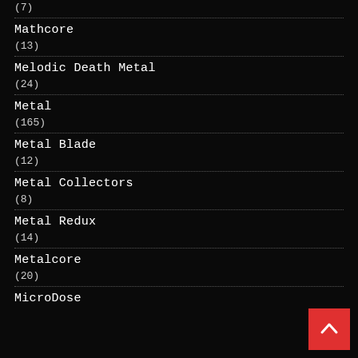(7)
Mathcore
(13)
Melodic Death Metal
(24)
Metal
(165)
Metal Blade
(12)
Metal Collectors
(8)
Metal Redux
(14)
Metalcore
(20)
MicroDose